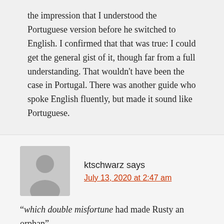the impression that I understood the Portuguese version before he switched to English. I confirmed that that was true: I could get the general gist of it, though far from a full understanding. That wouldn't have been the case in Portugal. There was another guide who spoke English fluently, but made it sound like Portuguese.
ktschwarz says
July 13, 2020 at 2:47 am
“which double misfortune had made Rusty an orphan”
That’s a “relative-determinative which”, discussed at Language Hat (2018) and Language Log (2008). It’s not quite as obsolete as you think, even outside legalese: since that post, I’ve been noticing examples in the current use (including the). A common mis...